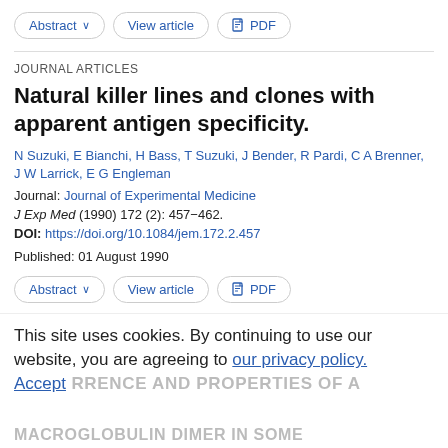Abstract ∨   View article   PDF
JOURNAL ARTICLES
Natural killer lines and clones with apparent antigen specificity.
N Suzuki, E Bianchi, H Bass, T Suzuki, J Bender, R Pardi, C A Brenner, J W Larrick, E G Engleman
Journal: Journal of Experimental Medicine
J Exp Med (1990) 172 (2): 457−462.
DOI: https://doi.org/10.1084/jem.172.2.457
Published: 01 August 1990
Abstract ∨   View article   PDF
This site uses cookies. By continuing to use our website, you are agreeing to our privacy policy. Accept
RRENCE AND PROPERTIES OF A MACROGLOBULIN DIMER IN SOME